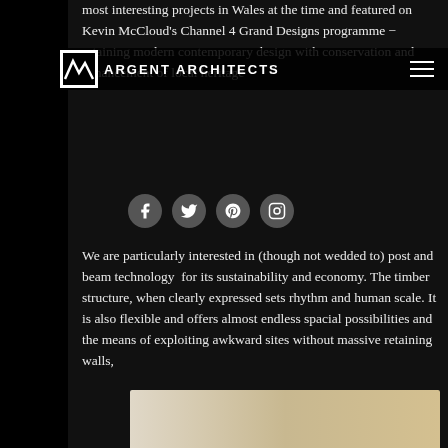ARGENT ARCHITECTS
most interesting projects in Wales at the time and featured on Kevin McCloud's Channel 4 Grand Designs programme − retaining modern contemporary design with conservation and enhancement of local heritage
We are particularly interested in (though not wedded to) post and beam technology  for its sustainability and economy. The timber structure, when clearly expressed sets rhythm and human scale. It is also flexible and offers almost endless spacial possibilities and the means of exploiting awkward sites without massive retaining walls,
[Figure (photo): Bottom strip showing a partial photo of a light-toned architectural or interior image]